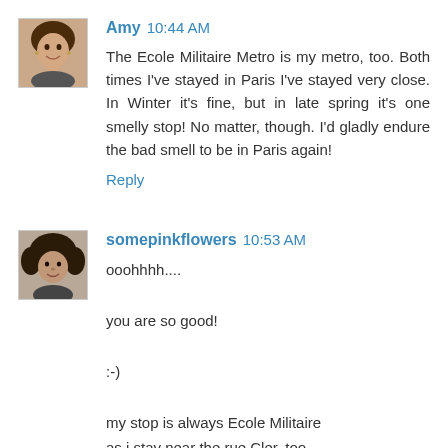[Figure (photo): Avatar photo of Amy - a woman with brown hair]
Amy 10:44 AM
The Ecole Militaire Metro is my metro, too. Both times I've stayed in Paris I've stayed very close. In Winter it's fine, but in late spring it's one smelly stop! No matter, though. I'd gladly endure the bad smell to be in Paris again!
Reply
[Figure (photo): Avatar photo of somepinkflowers - person with curly dark hair]
somepinkflowers 10:53 AM
ooohhhh....

you are so good!

:-)

my stop is always Ecole Militaire
as i stay near the rue Cler, too.
{{ yummies near~by }}

i always act like i know where i am going...